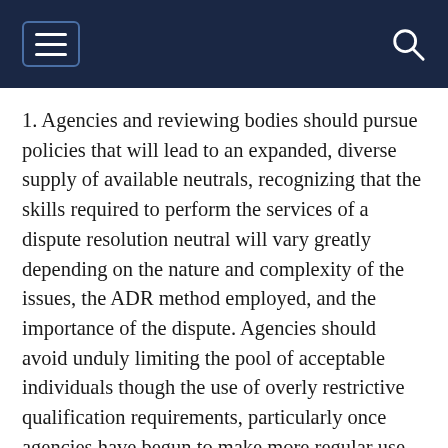[Navigation bar with hamburger menu and search icon]
1. Agencies and reviewing bodies should pursue policies that will lead to an expanded, diverse supply of available neutrals, recognizing that the skills required to perform the services of a dispute resolution neutral will vary greatly depending on the nature and complexity of the issues, the ADR method employed, and the importance of the dispute. Agencies should avoid unduly limiting the pool of acceptable individuals though the use of overly restrictive qualification requirements, particularly once agencies have begun to make more regular use of ADR methods. While skill or experience in the process of resolving disputes, such as that possessed by mediators and arbitrators, is usually an important criterion in the selection of neutrals, and knowledge of the applicable